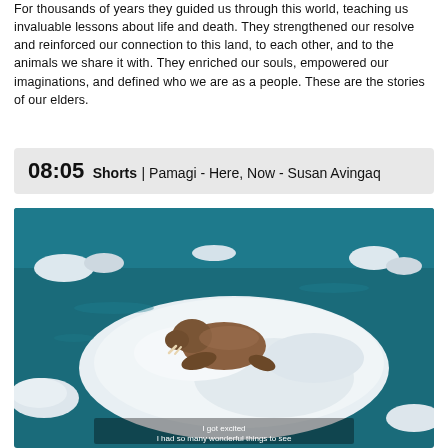For thousands of years they guided us through this world, teaching us invaluable lessons about life and death. They strengthened our resolve and reinforced our connection to this land, to each other, and to the animals we share it with. They enriched our souls, empowered our imaginations, and defined who we are as a people. These are the stories of our elders.
08:05 Shorts | Pamagi - Here, Now - Susan Avingaq
[Figure (photo): Aerial or elevated view of a walrus or sea lion resting on a floating ice floe surrounded by turquoise arctic water and smaller ice chunks. Subtitle text at the bottom reads: 'I got excited / I had so many wonderful things to see']